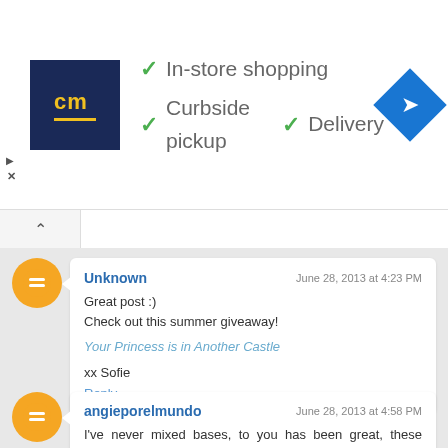[Figure (screenshot): Advertisement banner for a store with logo 'cm', checkmarks for In-store shopping, Curbside pickup, Delivery, and a blue navigation arrow icon]
Unknown
June 28, 2013 at 4:23 PM
Great post :)
Check out this summer giveaway!
Your Princess is in Another Castle
xx Sofie
Reply
angieporelmundo
June 28, 2013 at 4:58 PM
I've never mixed bases, to you has been great, these guapisima. I have not tested